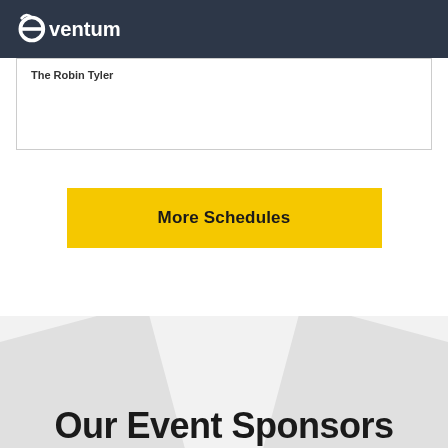eventum
The Robin Tyler
More Schedules
Our Event Sponsors